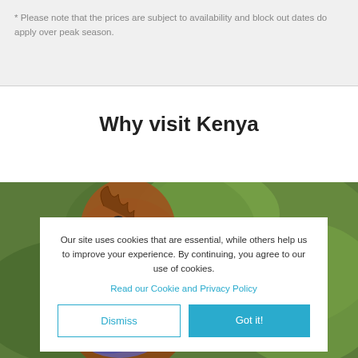* Please note that the prices are subject to availability and block out dates do apply over peak season.
Why visit Kenya
[Figure (photo): Close-up macro photo of a chameleon or lizard with colorful scales (red/pink/blue) against a blurred green background, partially visible behind the cookie consent overlay.]
Our site uses cookies that are essential, while others help us to improve your experience. By continuing, you agree to our use of cookies.
Read our Cookie and Privacy Policy
Dismiss
Got it!